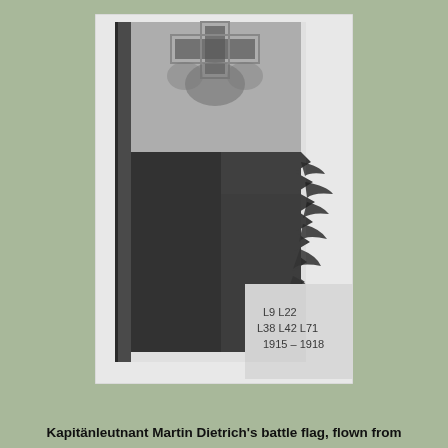[Figure (photo): Black and white photograph of a tattered and damaged battle flag, showing remnants of what appears to be an Iron Cross design. The flag is heavily worn and frayed, attached to a pole on the left side. Text visible in the lower right of the photo reads: L9 L22 / L38 L42 L71 / 1915 - 1918]
Kapitänleutnant Martin Dietrich's battle flag, flown from